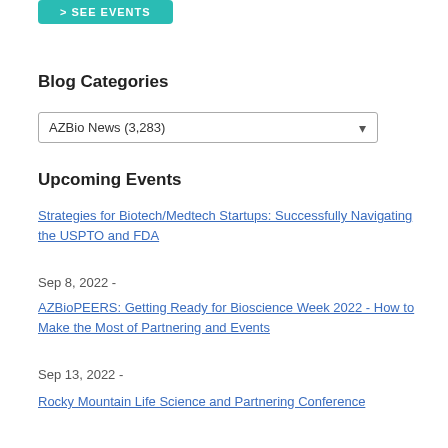[Figure (other): Teal/turquoise button with white text '> SEE EVENTS']
Blog Categories
AZBio News  (3,283)
Upcoming Events
Strategies for Biotech/Medtech Startups: Successfully Navigating the USPTO and FDA
Sep 8, 2022 -
AZBioPEERS: Getting Ready for Bioscience Week 2022 - How to Make the Most of Partnering and Events
Sep 13, 2022 -
Rocky Mountain Life Science and Partnering Conference